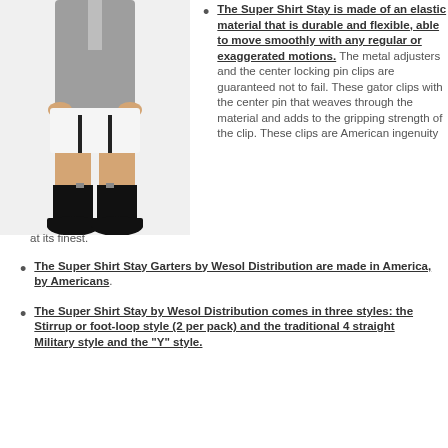[Figure (photo): Man wearing shirt stays/garters — suspender-style straps from shirt hem down to socks, with white compression shorts visible and black dress shoes]
The Super Shirt Stay is made of an elastic material that is durable and flexible, able to move smoothly with any regular or exaggerated motions. The metal adjusters and the center locking pin clips are guaranteed not to fail. These gator clips with the center pin that weaves through the material and adds to the gripping strength of the clip. These clips are American ingenuity at its finest.
The Super Shirt Stay Garters by Wesol Distribution are made in America, by Americans.
The Super Shirt Stay by Wesol Distribution comes in three styles: the Stirrup or foot-loop style (2 per pack) and the traditional 4 straight Military style and the "Y" style.